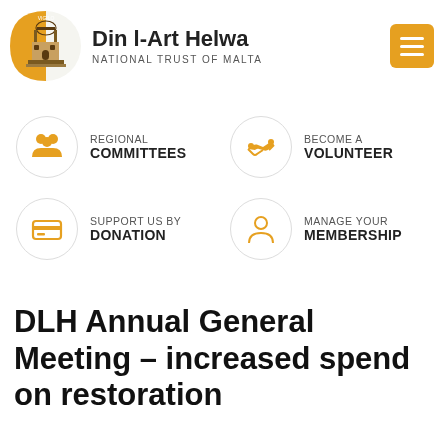[Figure (logo): Din l-Art Helwa National Trust of Malta logo with orange circle and building illustration, organization name text, and hamburger menu button]
[Figure (infographic): Navigation menu grid with four items: Regional Committees (people icon), Become a Volunteer (handshake icon), Support Us By Donation (credit card icon), Manage Your Membership (person icon)]
DLH Annual General Meeting – increased spend on restoration